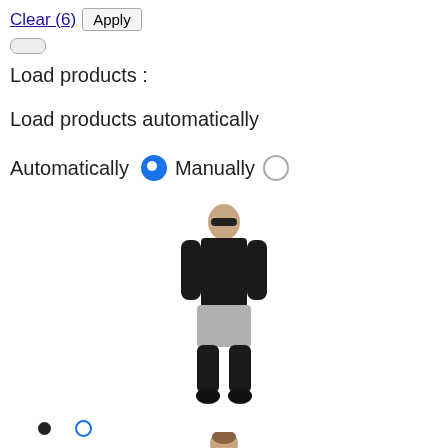Clear (6)  Apply
Load products :
Load products automatically
Automatically   Manually
[Figure (photo): Fashion model wearing black long-sleeve top and light grey shorts with black tights and black boots, standing facing forward, full body shot on white background]
• ◦
[Figure (photo): Fashion model from behind wearing black top, partial view cropped at bottom of page]